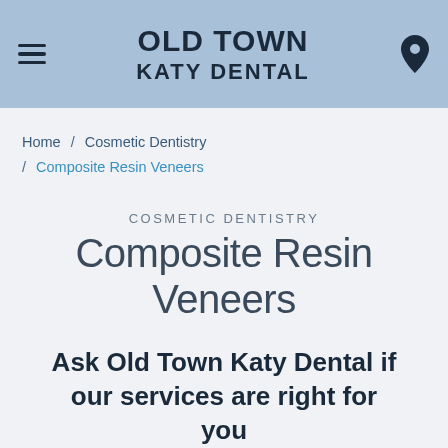OLD TOWN KATY DENTAL
Home / Cosmetic Dentistry / Composite Resin Veneers
COSMETIC DENTISTRY
Composite Resin Veneers
Ask Old Town Katy Dental if our services are right for you